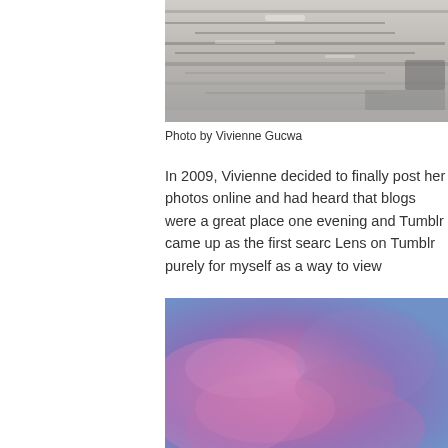[Figure (photo): Black and white photograph of water or rocky surface with blurred motion, partial view cropped at top of page]
Photo by Vivienne Gucwa
In 2009, Vivienne decided to finally post her photos online and had heard that blogs were a great place one evening and Tumblr came up as the first searc Lens on Tumblr purely for myself as a way to view
[Figure (photo): Color photograph of a purple and pink hazy sky or atmospheric scene, partially visible at bottom of page]